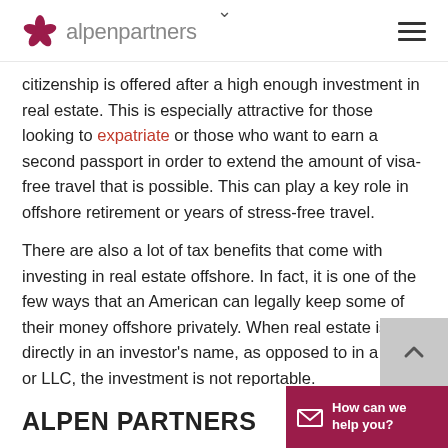alpenpartners
citizenship is offered after a high enough investment in real estate. This is especially attractive for those looking to expatriate or those who want to earn a second passport in order to extend the amount of visa-free travel that is possible. This can play a key role in offshore retirement or years of stress-free travel.
There are also a lot of tax benefits that come with investing in real estate offshore. In fact, it is one of the few ways that an American can legally keep some of their money offshore privately. When real estate is held directly in an investor's name, as opposed to in a trust or LLC, the investment is not reportable.
ALPEN PARTNERS  How can we help you?